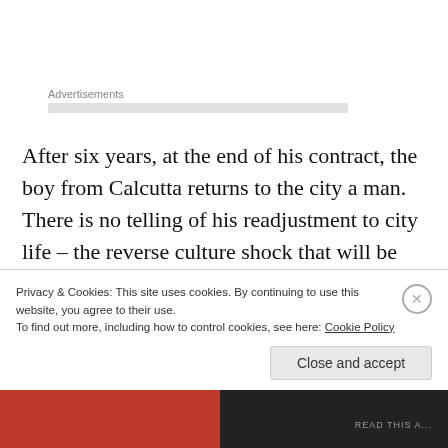Advertisements
After six years, at the end of his contract, the boy from Calcutta returns to the city a man. There is no telling of his readjustment to city life – the reverse culture shock that will be inevitable after these life-changing experiences. However, as Bandyopadhyay has written what is effectively a semi-autobiographical story in retrospect, Aranyak is assessment of those experiences,
Privacy & Cookies: This site uses cookies. By continuing to use this website, you agree to their use.
To find out more, including how to control cookies, see here: Cookie Policy
Close and accept